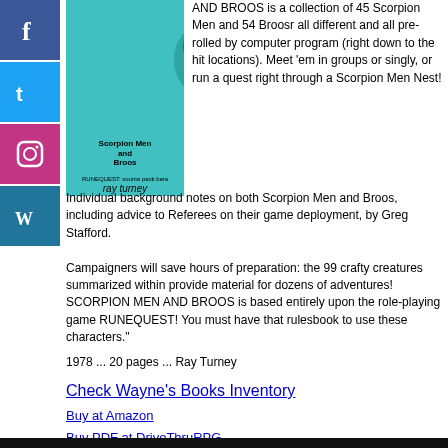[Figure (other): Social media icons: Facebook, Twitter, Instagram, WordPress]
[Figure (illustration): Book cover for Scorpion Men and Broos by Ray Turney, teal/cyan background with bird illustration]
AND BROOS is a collection of 45 Scorpion Men and 54 Broosr all different and all pre-rolled by computer program (right down to the hit locations). Meet 'em in groups or singly, or run a quest right through a Scorpion Men Nest!
Individual background notes on both Scorpion Men and Broos, including advice to Referees on their game deployment, by Greg Stafford.
Campaigners will save hours of preparation: the 99 crafty creatures summarized within provide material for dozens of adventures!
SCORPION MEN AND BROOS is based entirely upon the role-playing game RUNEQUEST! You must have that rulesbook to use these characters."
1978 ... 20 pages ... Ray Turney
Check Wayne's Books Inventory
Buy at Amazon
Buy PDF at DriveThruRPG